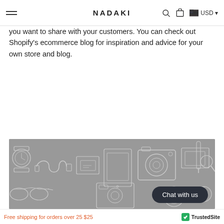NADAKI
you want to share with your customers. You can check out Shopify's ecommerce blog for inspiration and advice for your own store and blog.
Read more
[Figure (illustration): Grey banner illustration showing outline drawings of tech gadgets: watch, camera, USB cable, flash, compass, sunglasses, and other devices on a grey background with a dark 'Chat with us' button overlay.]
Free shipping for orders over 25 $25  TrustedSite